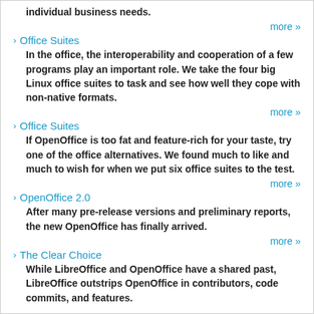individual business needs.
more »
Office Suites
In the office, the interoperability and cooperation of a few programs play an important role. We take the four big Linux office suites to task and see how well they cope with non-native formats.
more »
Office Suites
If OpenOffice is too fat and feature-rich for your taste, try one of the office alternatives. We found much to like and much to wish for when we put six office suites to the test.
more »
OpenOffice 2.0
After many pre-release versions and preliminary reports, the new OpenOffice has finally arrived.
more »
The Clear Choice
While LibreOffice and OpenOffice have a shared past, LibreOffice outstrips OpenOffice in contributors, code commits, and features.